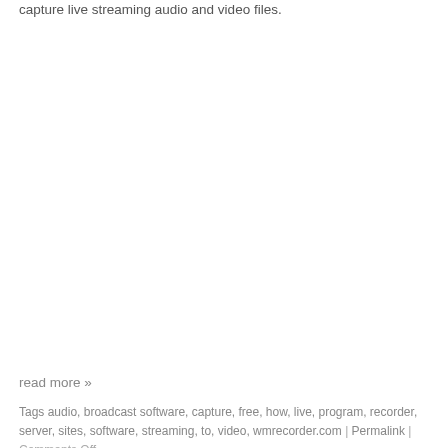capture live streaming audio and video files.
read more »
Tags audio, broadcast software, capture, free, how, live, program, recorder, server, sites, software, streaming, to, video, wmrecorder.com | Permalink | Comments Off